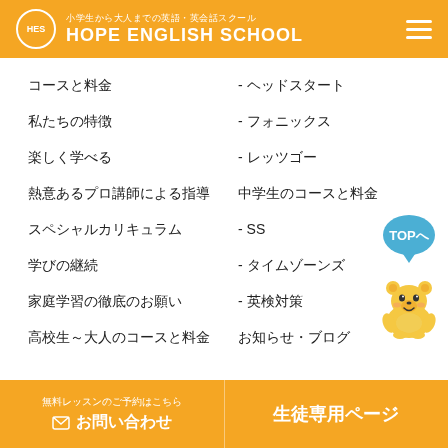小学生から大人までの英語・英会話スクール HOPE ENGLISH SCHOOL
コースと料金
- ヘッドスタート
私たちの特徴
- フォニックス
楽しく学べる
- レッツゴー
熱意あるプロ講師による指導
中学生のコースと料金
スペシャルカリキュラム
- SS
学びの継続
- タイムゾーンズ
家庭学習の徹底のお願い
- 英検対策
高校生～大人のコースと料金
お知らせ・ブログ
[Figure (illustration): Blue speech bubble with text TOPへ and yellow bear mascot character]
無料レッスンのご予約はこちら お問い合わせ | 生徒専用ページ